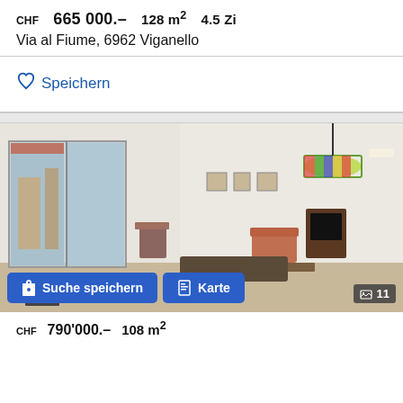CHF 665 000.– 128 m² 4.5 Zi
Via al Fiume, 6962 Viganello
♡ Speichern
[Figure (photo): Interior photo of a furnished living room with large sliding glass doors to a balcony, armchairs, a TV cabinet, artwork on walls, and a decorative lamp overhead. Two blue action buttons overlay the bottom: 'Suche speichern' and 'Karte'. Image count badge shows 11.]
CHF 790'000.– 108 m²